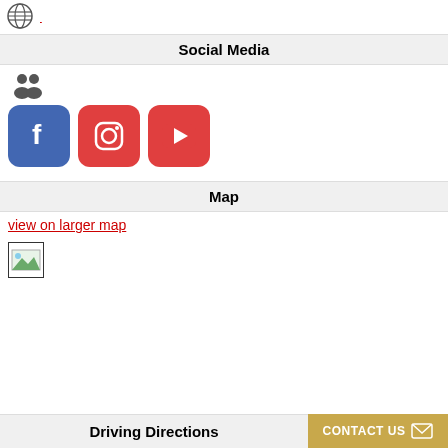[Figure (logo): Globe icon with red website link at top]
Social Media
[Figure (infographic): People icon followed by Facebook, Instagram, and YouTube social media buttons]
Map
view on larger map
[Figure (other): Small broken/placeholder map image thumbnail]
Driving Directions
[Figure (other): CONTACT US button with envelope icon]